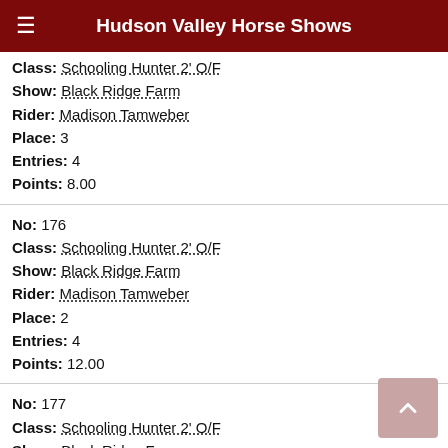Hudson Valley Horse Shows
Class: Schooling Hunter 2' O/F
Show: Black Ridge Farm
Rider: Madison Tamweber
Place: 3
Entries: 4
Points: 8.00
No: 176
Class: Schooling Hunter 2' O/F
Show: Black Ridge Farm
Rider: Madison Tamweber
Place: 2
Entries: 4
Points: 12.00
No: 177
Class: Schooling Hunter 2' O/F
Show: Black Ridge Farm
Rider: Madison Tamweber
Place: 2
Entries: 4